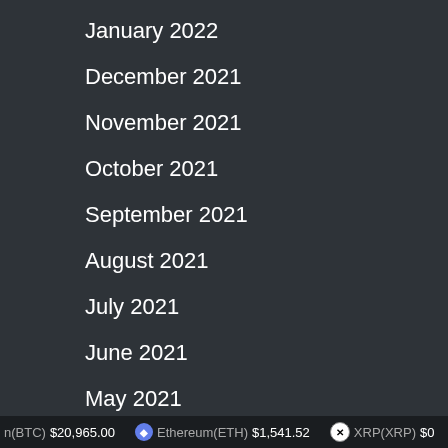January 2022
December 2021
November 2021
October 2021
September 2021
August 2021
July 2021
June 2021
May 2021
April 2021
March 2021
February 2021
n(BTC) $20,965.00   Ethereum(ETH) $1,541.52   XRP(XRP) $0...